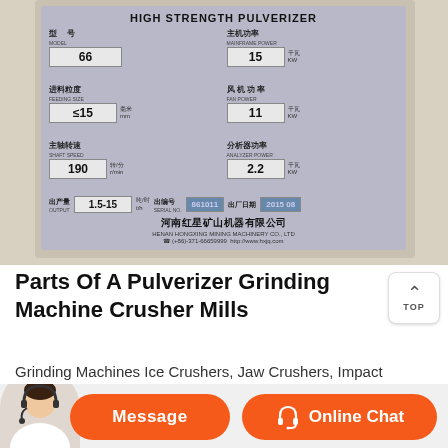[Figure (photo): Photo of a High Strength Pulverizer specification plate showing model 66, mainframe power 15 kW, feeding size ≤15 mm, fan power 11 kW, shaft speed 190 rpm, analyzer power 2.2 kW, output 1.5-15 t/h, serial number, production date 2015. Manufacturer: 河南红星矿山机器有限公司, HENAN HONGXING MINING MACHINERY CO., LTD, tel (+86)-371-66659999, http://www.hxjq.com]
Parts Of A Pulverizer Grinding Machine Crusher Mills
Grinding Machines Ice Crushers, Jaw Crushers, Impact Manufacturer and Exporter of Grinding Machines, Impact pulverizer are offered with a wide and can foresee the set up a lump crusher on a silo down part,